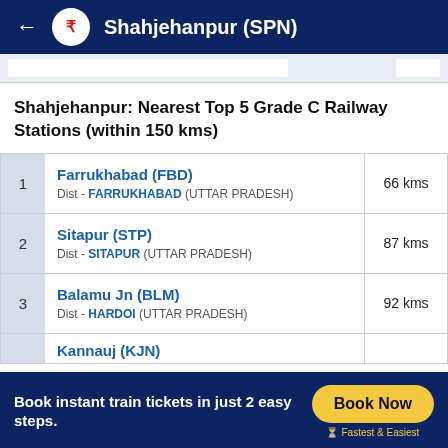Shahjehanpur (SPN)
Shahjehanpur: Nearest Top 5 Grade C Railway Stations (within 150 kms)
| # | Station | Distance |
| --- | --- | --- |
| 1 | Farrukhabad (FBD)
Dist - FARRUKHABAD (UTTAR PRADESH) | 66 kms |
| 2 | Sitapur (STP)
Dist - SITAPUR (UTTAR PRADESH) | 87 kms |
| 3 | Balamu Jn (BLM)
Dist - HARDOI (UTTAR PRADESH) | 92 kms |
| 4 | Kannauj (KJN) |  |
Book instant train tickets in just 2 easy steps.